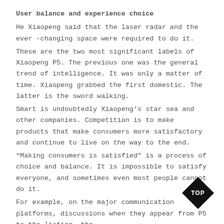User balance and experience choice
He Xiaopeng said that the laser radar and the ever -changing space were required to do it.
These are the two most significant labels of Xiaopeng P5. The previous one was the general trend of intelligence. It was only a matter of time. Xiaopeng grabbed the first domestic. The latter is the sword walking.
Smart is undoubtedly Xiaopeng’s star sea and other companies. Competition is to make products that make consumers more satisfactory and continue to live on the way to the end.
“Making consumers is satisfied” is a process of choice and balance. It is impossible to satisfy everyone, and sometimes even most people cannot do it.
For example, on the major communication platforms, discussions when they appear from P5 to the listing, the
[Figure (illustration): A black diamond-shaped badge with the text TOP in white letters in the center, positioned at the bottom-right of the page.]